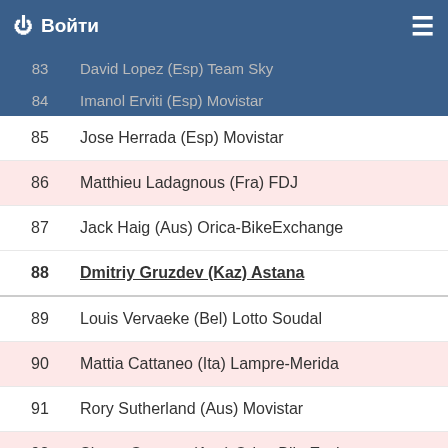Войти
83  David Lopez (Esp) Team Sky
84  Imanol Erviti (Esp) Movistar
85  Jose Herrada (Esp) Movistar
86  Matthieu Ladagnous (Fra) FDJ
87  Jack Haig (Aus) Orica-BikeExchange
88  Dmitriy Gruzdev (Kaz) Astana
89  Louis Vervaeke (Bel) Lotto Soudal
90  Mattia Cattaneo (Ita) Lampre-Merida
91  Rory Sutherland (Aus) Movistar
92  Simon Gerrans (Aus) Orica-BikeExchange
93  Martijn Keizer (Ned) Lotto NL - Jumbo
94  Nathan Haas (Aus) Dimension Data
95  Jelle Wallays (Bel) Lotto Soudal
96  Gregor Mühlberger (Aut) Bora - Argon 18
97  Gert Dockx (Bel) Lotto Soudal
98  Stephane Rossetto (Fra) Cofidis
99  Philippe Gilbert (Bel) BMC
100  Valerio Conti (Ita) Lampre-Merida
101  Patrick Bevin (Nzl) Cannondale-Drapac
102  Jens Keukeleire (Bel) Orica-BikeExchange
103  Jaime Roson (Esp) Caja Rural - Seguros RGA
104  Joe Dombrowski (Usa) Cannondale-Drapac